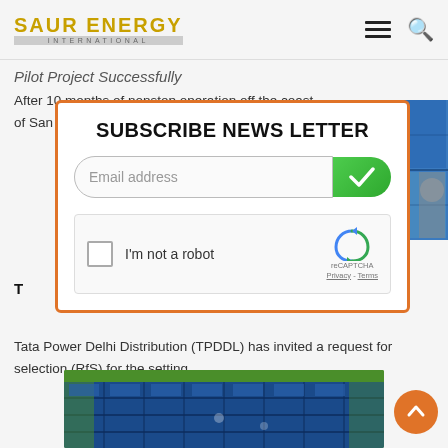SAUR ENERGY INTERNATIONAL
Pilot Project Successfully
After 10 months of nonstop operation off the coast of San Diego, US-based wave energy...
[Figure (screenshot): Subscribe News Letter modal overlay with email input, green checkmark button, and reCAPTCHA checkbox]
TPDDL Invites RfS for 5 MW of Hybrid Projects
Tata Power Delhi Distribution (TPDDL) has invited a request for selection (RfS) for the setting...
[Figure (photo): Aerial view of solar panel farm on green agricultural land]